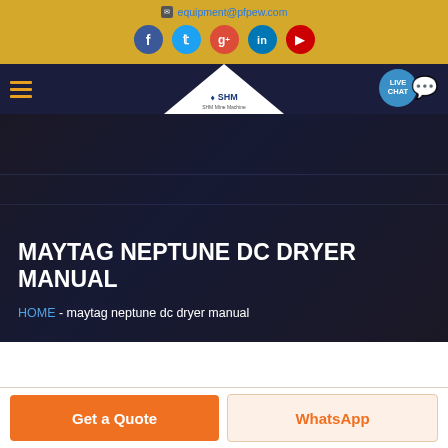equipment@pfpew.com
[Figure (screenshot): Website header with golden background showing email address, social media icons (Facebook, Twitter, Google+, LinkedIn, YouTube), navigation bar with hamburger menu, SHM logo, live chat bubble, and dark hero banner with title MAYTAG NEPTUNE DC DRYER MANUAL and breadcrumb navigation HOME - maytag neptune dc dryer manual]
MAYTAG NEPTUNE DC DRYER MANUAL
HOME  -  maytag neptune dc dryer manual
Get a Quote
WhatsApp